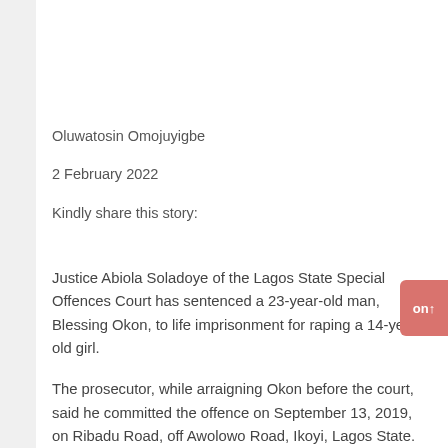Oluwatosin Omojuyigbe
2 February 2022
Kindly share this story:
Justice Abiola Soladoye of the Lagos State Special Offences Court has sentenced a 23-year-old man, Blessing Okon, to life imprisonment for raping a 14-year-old girl.
The prosecutor, while arraigning Okon before the court, said he committed the offence on September 13, 2019, on Ribadu Road, off Awolowo Road, Ikoyi, Lagos State.
During the trial, the prosecution called three witnesses — the victim, her father and a medical doctor. Okon testified